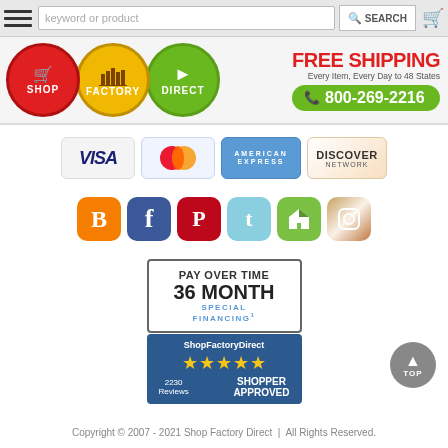[Figure (screenshot): Website header with search bar, hamburger menu, and shopping cart icon. Search field placeholder reads 'keyword or product' with a SEARCH button.]
[Figure (logo): Shop Factory Direct logo with three circles: red SHOP circle with cart icon, yellow FACTORY circle, green DIRECT circle with arrow. FREE SHIPPING text in red, 'Every Item, Every Day to 48 States' subtitle, and green phone bar showing 800-269-2216.]
[Figure (infographic): Payment method logos: VISA, MasterCard, American Express, Discover Network]
[Figure (infographic): Social media icons: Blogger (orange B), Facebook (blue f), Pinterest (red P), Twitter (light blue t), Houzz (green H), Instagram (brown camera)]
[Figure (infographic): PAY OVER TIME 36 MONTH SPECIAL FINANCING badge and ShopFactoryDirect 5-star Shopper Approved badge showing 2230 Reviews]
Copyright © 2007 - 2021 Shop Factory Direct  |  All Rights Reserved.